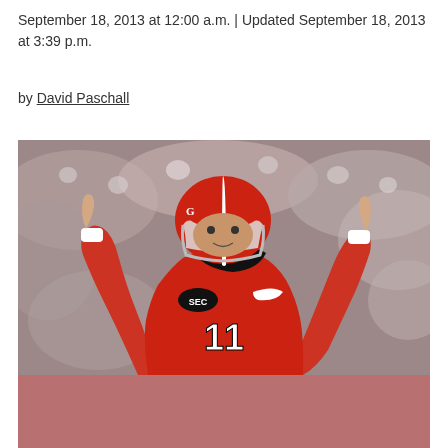September 18, 2013 at 12:00 a.m. | Updated September 18, 2013 at 3:39 p.m.
by David Paschall
[Figure (photo): Georgia Bulldogs football player wearing red jersey number 11 with SEC logo, red helmet, raising both arms with index fingers pointing up in celebration, blurred crowd in background]